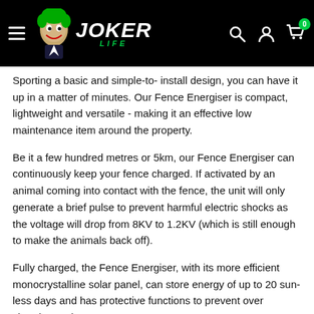[Figure (logo): Joker Life logo with Joker face graphic on black navigation header bar, with hamburger menu icon, search icon, account icon, and cart icon with badge showing 0]
Sporting a basic and simple-to- install design, you can have it up in a matter of minutes. Our Fence Energiser is compact, lightweight and versatile - making it an effective low maintenance item around the property.
Be it a few hundred metres or 5km, our Fence Energiser can continuously keep your fence charged. If activated by an animal coming into contact with the fence, the unit will only generate a brief pulse to prevent harmful electric shocks as the voltage will drop from 8KV to 1.2KV (which is still enough to make the animals back off).
Fully charged, the Fence Energiser, with its more efficient monocrystalline solar panel, can store energy of up to 20 sun-less days and has protective functions to prevent over charging and...